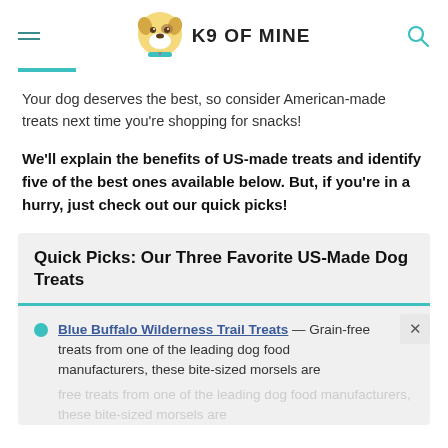K9 OF MINE
Your dog deserves the best, so consider American-made treats next time you're shopping for snacks!
We'll explain the benefits of US-made treats and identify five of the best ones available below. But, if you're in a hurry, just check out our quick picks!
Quick Picks: Our Three Favorite US-Made Dog Treats
Blue Buffalo Wilderness Trail Treats — Grain-free treats from one of the leading dog food manufacturers, these bite-sized morsels are